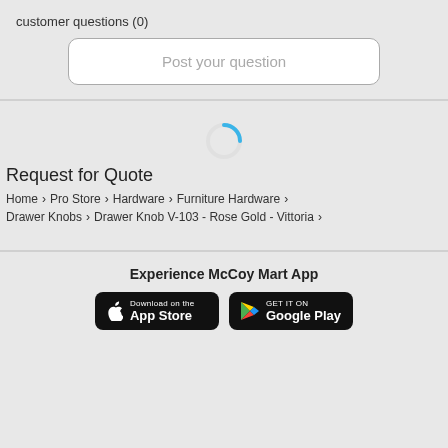customer questions (0)
Post your question
[Figure (other): Loading spinner - blue circular arc indicating loading state]
Request for Quote
Home > Pro Store > Hardware > Furniture Hardware > Drawer Knobs > Drawer Knob V-103 - Rose Gold - Vittoria >
Experience McCoy Mart App
[Figure (other): App Store download button - black rounded rectangle with Apple logo and text 'Download on the App Store']
[Figure (other): Google Play download button - black rounded rectangle with Google Play logo and text 'GET IT ON Google Play']